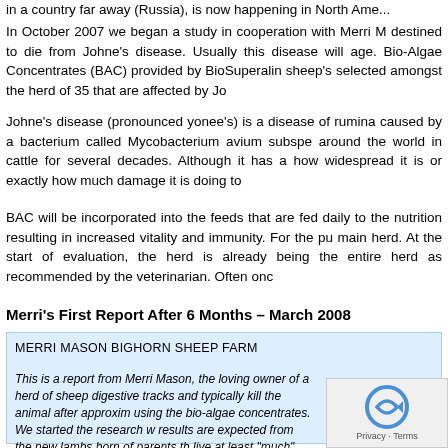in a country far away (Russia), is now happening in North America...
In October 2007 we began a study in cooperation with Merri M... destined to die from Johne's disease. Usually this disease will... age. Bio-Algae Concentrates (BAC) provided by BioSuperalin... sheep's selected amongst the herd of 35 that are affected by Jo...
Johne's disease (pronounced yonee's) is a disease of rumina... caused by a bacterium called Mycobacterium avium subspe... around the world in cattle for several decades. Although it has a... how widespread it is or exactly how much damage it is doing to...
BAC will be incorporated into the feeds that are fed daily to the... nutrition resulting in increased vitality and immunity. For the pu... main herd. At the start of evaluation, the herd is already being... the entire herd as recommended by the veterinarian. Often onc...
Merri's First Report After 6 Months – March 2008
MERRI MASON BIGHORN SHEEP FARM
This is a report from Merri Mason, the loving owner of a herd of sheep... digestive tracks and typically kill the animal after approxim... using the bio-algae concentrates. We started the research w... results are expected from the new lambs born of parents th... live at least "much" longer, or live their "full" life. The report that follows is...